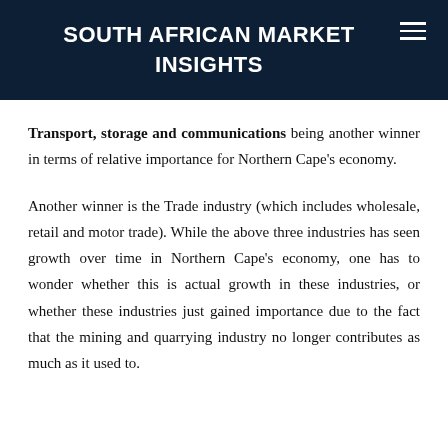SOUTH AFRICAN MARKET INSIGHTS
Transport, storage and communications being another winner in terms of relative importance for Northern Cape's economy.
Another winner is the Trade industry (which includes wholesale, retail and motor trade). While the above three industries has seen growth over time in Northern Cape's economy, one has to wonder whether this is actual growth in these industries, or whether these industries just gained importance due to the fact that the mining and quarrying industry no longer contributes as much as it used to.